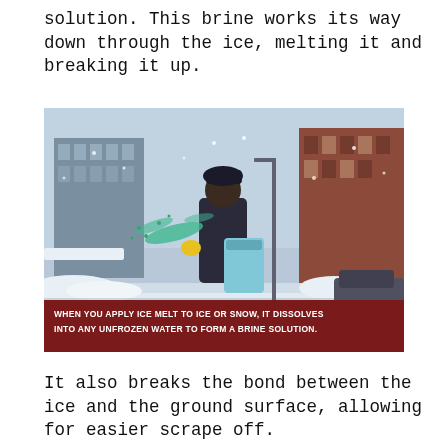solution. This brine works its way down through the ice, melting it and breaking it up.
[Figure (photo): A person wearing winter clothing scattering blue-green ice melt from a bag on a snow-covered urban sidewalk, with city buildings visible in the background. A dark red caption bar at the bottom reads: WHEN YOU APPLY ICE MELT TO ICE OR SNOW, IT DISSOLVES INTO ANY UNFROZEN WATER TO FORM A BRINE SOLUTION.]
WHEN YOU APPLY ICE MELT TO ICE OR SNOW, IT DISSOLVES INTO ANY UNFROZEN WATER TO FORM A BRINE SOLUTION.
It also breaks the bond between the ice and the ground surface, allowing for easier scrape off.